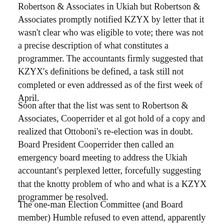Robertson & Associates in Ukiah but Robertson & Associates promptly notified KZYX by letter that it wasn't clear who was eligible to vote; there was not a precise description of what constitutes a programmer. The accountants firmly suggested that KZYX's definitions be defined, a task still not completed or even addressed as of the first week of April.
Soon after that the list was sent to Robertson & Associates, Cooperrider et al got hold of a copy and realized that Ottoboni's re-election was in doubt. Board President Cooperrider then called an emergency board meeting to address the Ukiah accountant's perplexed letter, forcefully suggesting that the knotty problem of who and what is a KZYX programmer be resolved.
The one-man Election Committee (and Board member) Humble refused to even attend, apparently having had his fill of the programmer issue. Some on the board...